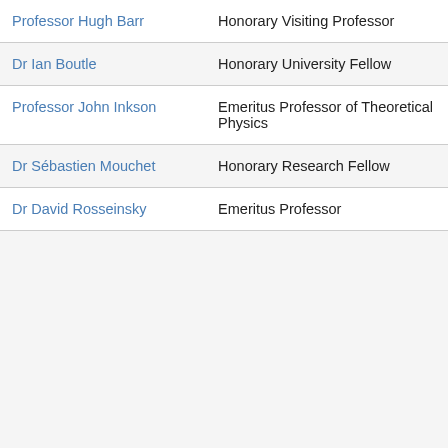| Name | Role |
| --- | --- |
| Professor Hugh Barr | Honorary Visiting Professor |
| Dr Ian Boutle | Honorary University Fellow |
| Professor John Inkson | Emeritus Professor of Theoretical Physics |
| Dr Sébastien Mouchet | Honorary Research Fellow |
| Dr David Rosseinsky | Emeritus Professor |
Our site uses cookies to help give you a better experience. By continuing to use it you consent to the use of cookies as set out in our privacy policy
Close
yright &